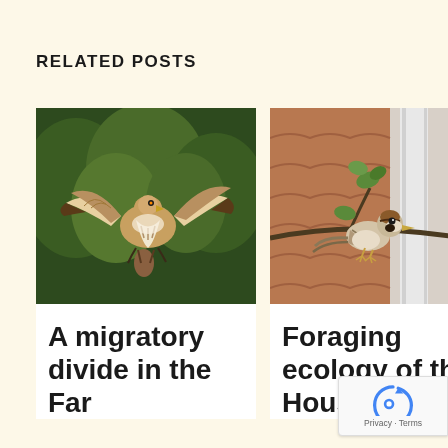RELATED POSTS
[Figure (photo): A hawk in flight with wings spread, carrying prey, with green foliage in the background]
A migratory divide in the Far
[Figure (photo): A house sparrow perched on a branch near a white drainpipe, with green leaves visible]
Foraging ecology of the House